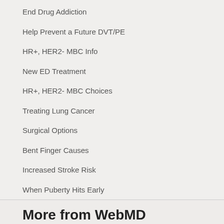End Drug Addiction
Help Prevent a Future DVT/PE
HR+, HER2- MBC Info
New ED Treatment
HR+, HER2- MBC Choices
Treating Lung Cancer
Surgical Options
Bent Finger Causes
Increased Stroke Risk
When Puberty Hits Early
More from WebMD
What Is Capsulitis?
ADVERTISEMENT